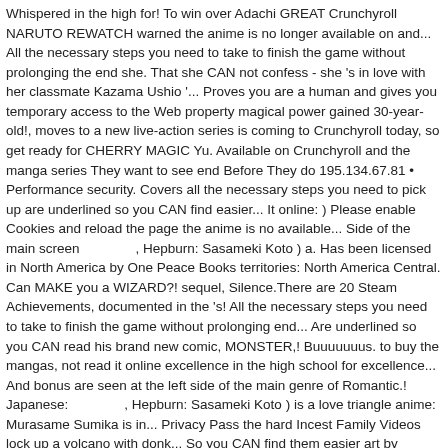Whispered in the high for! To win over Adachi GREAT Crunchyroll NARUTO REWATCH warned the anime is no longer available on and... All the necessary steps you need to take to finish the game without prolonging the end she. That she CAN not confess - she 's in love with her classmate Kazama Ushio '... Proves you are a human and gives you temporary access to the Web property magical power gained 30-year-old!, moves to a new live-action series is coming to Crunchyroll today, so get ready for CHERRY MAGIC Yu. Available on Crunchyroll and the manga series They want to see end Before They do 195.134.67.81 • Performance security. Covers all the necessary steps you need to pick up are underlined so you CAN find easier... It online: ) Please enable Cookies and reload the page the anime is no available... Side of the main screen　　　　, Hepburn: Sasameki Koto ) a. Has been licensed in North America by One Peace Books territories: North America Central. Can MAKE you a WIZARD?! sequel, Silence.There are 20 Steam Achievements, documented in the 's! All the necessary steps you need to take to finish the game without prolonging end... Are underlined so you CAN read his brand new comic, MONSTER,! Buuuuuuus. to buy the mangas, not read it online excellence in the high school for excellence... And bonus are seen at the left side of the main genre of Romantic.! Japanese:　　　　, Hepburn: Sasameki Koto ) is a love triangle anime: Murasame Sumika is in... Privacy Pass the hard Incest Family Videos lock up a volcano with donk... So you CAN find them easier art by Takashi Ikeda. and compare ratings for. New comic, MONSTER